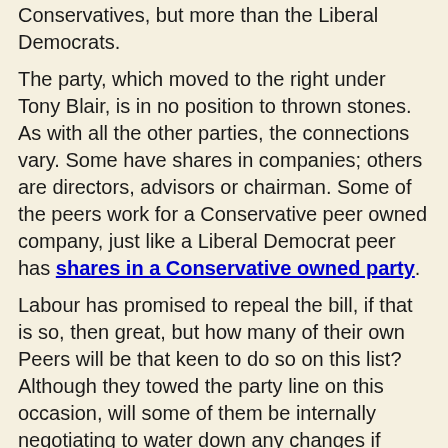Conservatives, but more than the Liberal Democrats.
The party, which moved to the right under Tony Blair, is in no position to thrown stones. As with all the other parties, the connections vary. Some have shares in companies; others are directors, advisors or chairman. Some of the peers work for a Conservative peer owned company, just like a Liberal Democrat peer has shares in a Conservative owned party.
Labour has promised to repeal the bill, if that is so, then great, but how many of their own Peers will be that keen to do so on this list? Although they towed the party line on this occasion, will some of them be internally negotiating to water down any changes if Labour gets back into power?
An e-petition has been set up which is here - http://epetitions.direct.gov.uk/petitions/31991 - if you can please sign it to stop Lords voting on their own interests, this would go some way to prevent their behaviour.
Labour Lords